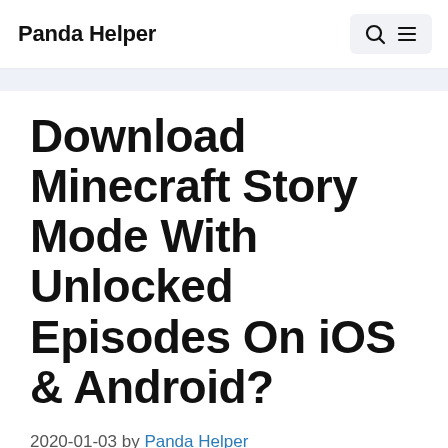Panda Helper
Download Minecraft Story Mode With Unlocked Episodes On iOS & Android?
2020-01-03 by Panda Helper